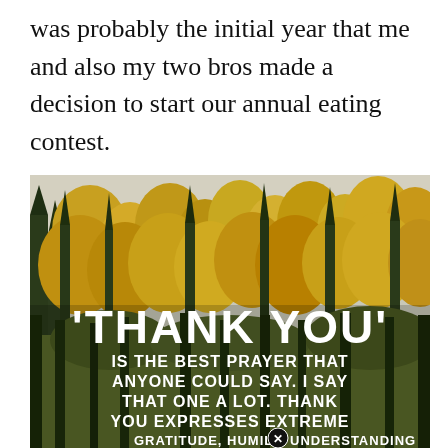was probably the initial year that me and also my two bros made a decision to start our annual eating contest.
[Figure (photo): Autumn forest scene with yellow-leafed trees and evergreens against a light sky. Overlaid white bold text reads: 'THANK YOU' IS THE BEST PRAYER THAT ANYONE COULD SAY. I SAY THAT ONE A LOT. THANK YOU EXPRESSES EXTREME GRATITUDE, HUMILI[X] UNDERSTANDING]